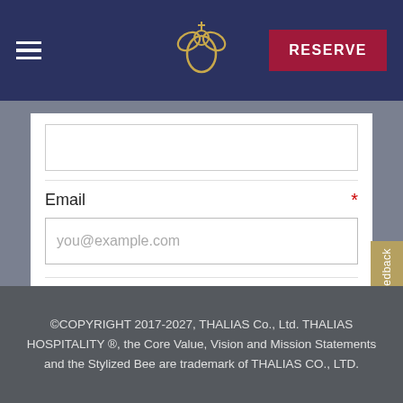[Figure (logo): Navigation bar with hamburger menu icon on left, stylized bee logo in center, and RESERVE button on right, all on dark navy background]
Email *
you@example.com
Subscribe
Feedback
©COPYRIGHT 2017-2027, THALIAS Co., Ltd. THALIAS HOSPITALITY ®, the Core Value, Vision and Mission Statements and the Stylized Bee are trademark of THALIAS CO., LTD.